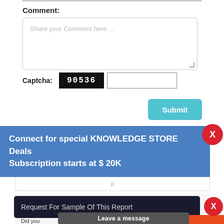Comment:
[Figure (screenshot): Comment textarea input field with placeholder text 'Share your Comment here...']
Captcha: 90536
[Figure (screenshot): Submit button (teal/cyan color)]
Connect for special KNOWLEDGE STORE Deals Subscription starts at $ 20K
Request For Sample Of This Report
Buy Any Report Avail 20% Code:
Leave a message
Did you read be